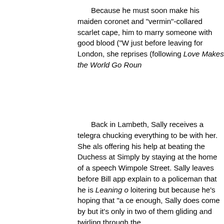Because he must soon make his maiden coronet and "vermin"-collared scarlet cape, him to marry someone with good blood ("W just before leaving for London, she reprises (following Love Makes the World Go Roun
Back in Lambeth, Sally receives a telegra chucking everything to be with her. She als offering his help at beating the Duchess at Simply by staying at the home of a speech Wimpole Street. Sally leaves before Bill app explain to a policeman that he is Leaning o loitering but because he's hoping that "a ce enough, Sally does come by but it's only in two of them gliding and twirling through the
Hareford Hall is once again the scene of of Bill because he does nothing but moan a finally comes to realize how much Sally me she accepts Sir John's offer of marriage, an accept his offer. Bill enters in his Lambeth finally decided to go home, and runs upstai amazement, Sally arrives elegantly attired and speaking the King's English. (Sir John' Bill comes downstairs, Sally hides her face Once she reveals her identity, Bill can only - "Where the bleedin' 'ell 'ave you been?" (P